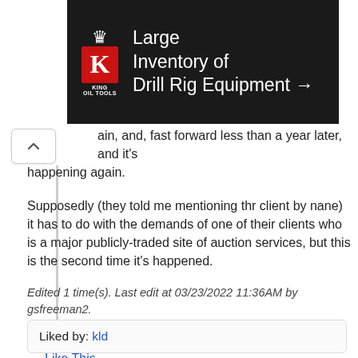[Figure (photo): Advertisement banner for King Oil Tools showing 'Large Inventory of Drill Rig Equipment →' text on dark background with logo]
ain, and, fast forward less than a year later, and it's happening again.
Supposedly (they told me mentioning thr client by nane) it has to do with the demands of one of their clients who is a major publicly-traded site of auction services, but this is the second time it's happened.
Edited 1 time(s). Last edit at 03/23/2022 11:36AM by gsfreeman2.
Reply
Like This
Liked by: kld